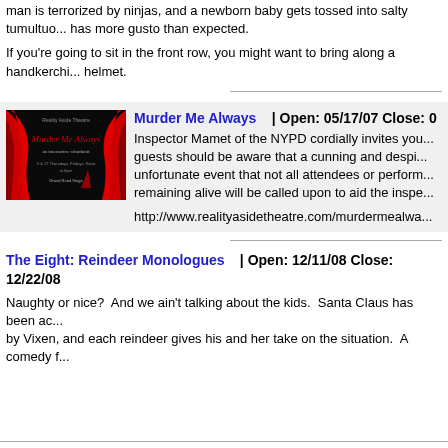man is terrorized by ninjas, and a newborn baby gets tossed into salty tumultuo... has more gusto than expected.
If you're going to sit in the front row, you might want to bring along a handkerchi... helmet.
[Figure (other): Theatre poster for 'Murder Me Always' showing red curtains on dark background]
Murder Me Always | Open: 05/17/07 Close: 0... Inspector Mamet of the NYPD cordially invites you... guests should be aware that a cunning and despi... unfortunate event that not all attendees or perform... remaining alive will be called upon to aid the inspe... http://www.realityasidetheatre.com/murdermealwa...
The Eight: Reindeer Monologues | Open: 12/11/08 Close: 12/22/08 Naughty or nice? And we ain't talking about the kids. Santa Claus has been ac... by Vixen, and each reindeer gives his and her take on the situation. A comedy f...